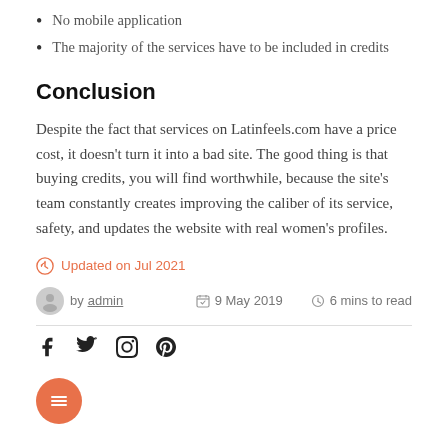No mobile application
The majority of the services have to be included in credits
Conclusion
Despite the fact that services on Latinfeels.com have a price cost, it doesn't turn it into a bad site. The good thing is that buying credits, you will find worthwhile, because the site's team constantly creates improving the caliber of its service, safety, and updates the website with real women's profiles.
Updated on Jul 2021
by admin · 9 May 2019 · 6 mins to read